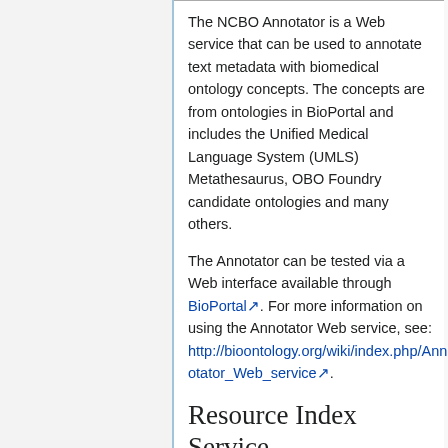The NCBO Annotator is a Web service that can be used to annotate text metadata with biomedical ontology concepts. The concepts are from ontologies in BioPortal and includes the Unified Medical Language System (UMLS) Metathesaurus, OBO Foundry candidate ontologies and many others.
The Annotator can be tested via a Web interface available through BioPortal. For more information on using the Annotator Web service, see: http://bioontology.org/wiki/index.php/Annotator_Web_service.
Resource Index Service
The Resource Index provides a mechanism to search for biomedical